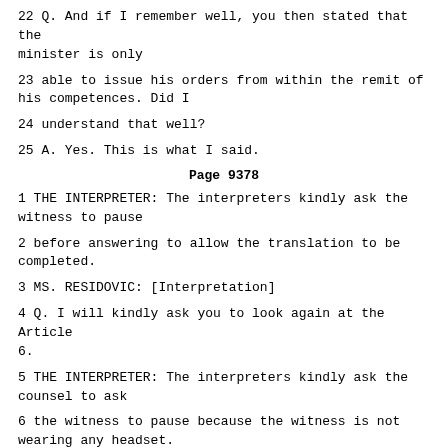22 Q. And if I remember well, you then stated that the minister is only
23 able to issue his orders from within the remit of his competences. Did I
24 understand that well?
25 A. Yes. This is what I said.
Page 9378
1 THE INTERPRETER: The interpreters kindly ask the witness to pause
2 before answering to allow the translation to be completed.
3 MS. RESIDOVIC: [Interpretation]
4 Q. I will kindly ask you to look again at the Article 6.
5 THE INTERPRETER: The interpreters kindly ask the counsel to ask
6 the witness to pause because the witness is not wearing any headset.
7 THE WITNESS: [Interpretation] On the screen --
8 MS. RESIDOVIC: [Interpretation]